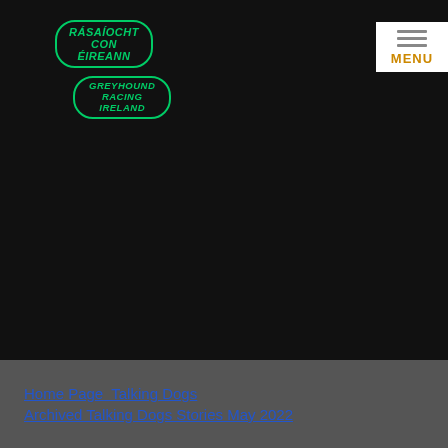[Figure (logo): Rásaíocht Con Éireann logo with green text and oval border, and Greyhound Racing Ireland logo below]
[Figure (other): MENU button with three horizontal lines above text, white background, orange MENU text]
Home Page  Talking Dogs
Archived Talking Dogs Stories May 2022